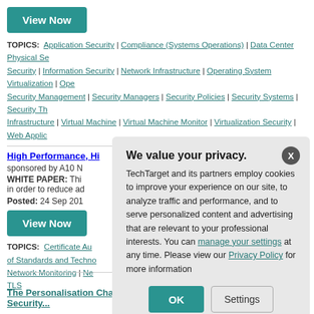[Figure (other): Teal 'View Now' button]
TOPICS:  Application Security | Compliance (Systems Operations) | Data Center Physical Security | Information Security | Network Infrastructure | Operating System Virtualization | Operating Security Management | Security Managers | Security Policies | Security Systems | Security Threat Infrastructure | Virtual Machine | Virtual Machine Monitor | Virtualization Security | Web Application
High Performance, Hi...
sponsored by A10 N...
WHITE PAPER: Thi... in order to reduce ad...
Posted: 24 Sep 201...
[Figure (other): Teal 'View Now' button]
TOPICS:  Certificate Au... of Standards and Techno... Network Monitoring | Ne... TLS
We value your privacy. TechTarget and its partners employ cookies to improve your experience on our site, to analyze traffic and performance, and to serve personalized content and advertising that are relevant to your professional interests. You can manage your settings at any time. Please view our Privacy Policy for more information
The Personalisation Challenge: Business Culture and Mobile Security...